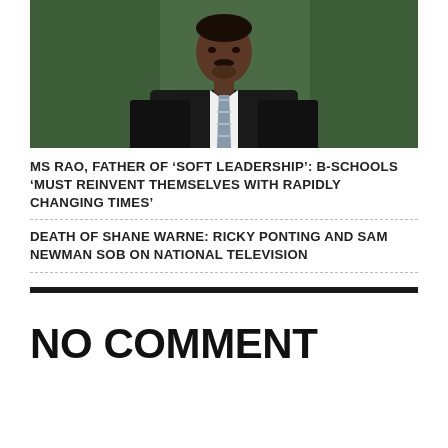[Figure (photo): Portrait photo of a man in a dark suit and striped tie against a green background]
MS RAO, FATHER OF ‘SOFT LEADERSHIP’: B-SCHOOLS ‘MUST REINVENT THEMSELVES WITH RAPIDLY CHANGING TIMES’
DEATH OF SHANE WARNE: RICKY PONTING AND SAM NEWMAN SOB ON NATIONAL TELEVISION
NO COMMENT